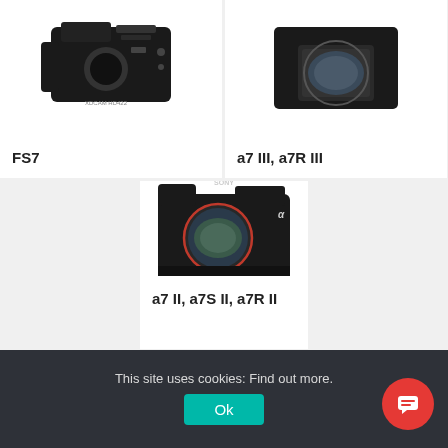[Figure (photo): Sony FS7 cinema camera body, partial top view showing controls and XDCAM HD422 branding]
FS7
[Figure (photo): Sony full-frame mirrorless camera body front view showing sensor, top portion cropped]
a7 III, a7R III
[Figure (photo): Sony a7 II series mirrorless camera body front view showing sensor and SONY branding]
a7 II, a7S II, a7R II
This site uses cookies: Find out more.
Ok